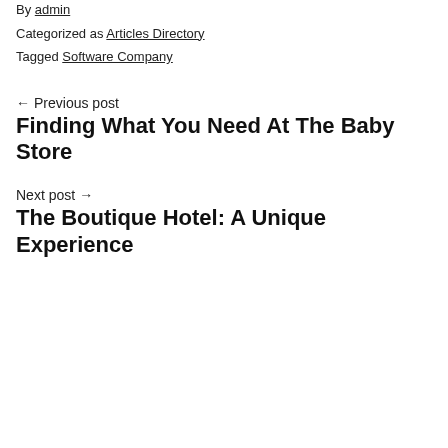By admin
Categorized as Articles Directory
Tagged Software Company
← Previous post
Finding What You Need At The Baby Store
Next post →
The Boutique Hotel: A Unique Experience